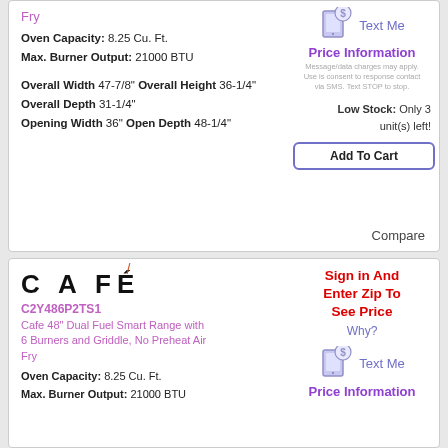Fry
Oven Capacity: 8.25 Cu. Ft.
Max. Burner Output: 21000 BTU
Overall Width 47-7/8" Overall Height 36-1/4"
Overall Depth 31-1/4"
Opening Width 36" Open Depth 48-1/4"
[Figure (infographic): Tablet with dollar sign speech bubble icon, Text Me label, Price Information button, SMS notice]
Low Stock: Only 3 unit(s) left!
Add To Cart
Compare
[Figure (logo): CAFE logo with orange accent flame]
C2Y486P2TS1
Cafe 48" Dual Fuel Smart Range with 6 Burners and Griddle, No Preheat Air Fry
Oven Capacity: 8.25 Cu. Ft.
Max. Burner Output: 21000 BTU
Sign in And Enter Zip To See Price
Why?
[Figure (infographic): Tablet with dollar sign speech bubble icon, Text Me label, Price Information]
Price Information